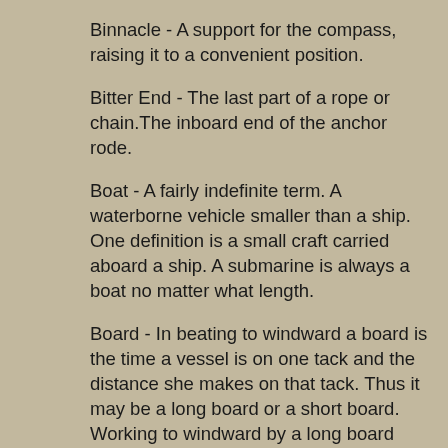Binnacle - A support for the compass, raising it to a convenient position.
Bitter End - The last part of a rope or chain.The inboard end of the anchor rode.
Boat - A fairly indefinite term. A waterborne vehicle smaller than a ship. One definition is a small craft carried aboard a ship. A submarine is always a boat no matter what length.
Board - In beating to windward a board is the time a vessel is on one tack and the distance she makes on that tack. Thus it may be a long board or a short board. Working to windward by a long board and a short board is when a vessel can more nearly lie her course on one tack than on another. Thus, suppose the wind be S.W., and the vessel's course from headland to headland S.S.W., and the vessel can lie four points from the wind; then on the starboard tack the vessel will